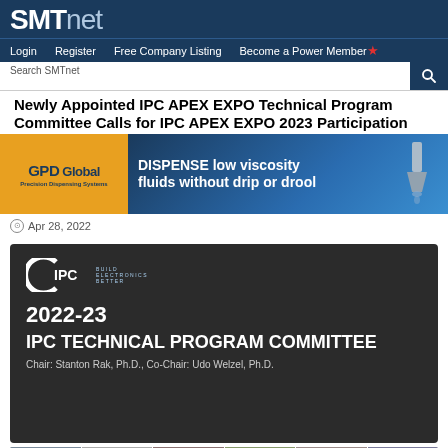SMTnet
Login  Register  Free Company Listing  Become a Power Member
Newly Appointed IPC APEX EXPO Technical Program Committee Calls for IPC APEX EXPO 2023 Participation
[Figure (photo): GPD Global advertisement: DISPENSE low viscosity fluids without drip or drool]
Apr 28, 2022
[Figure (photo): IPC 2022-23 IPC Technical Program Committee card with logo; Chair: Stanton Rak, Ph.D., Co-Chair: Udo Welzel, Ph.D.]
[Figure (photo): Strip of committee member photos]